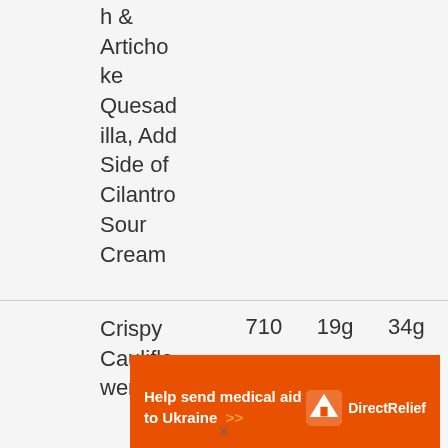h & Artichoke Quesadilla, Add Side of Cilantro Sour Cream
| Crispy Cauliflower | 710 | 19g | 34g |
[Figure (other): Advertisement banner: Help send medical aid to Ukraine >> DirectRelief logo]
x